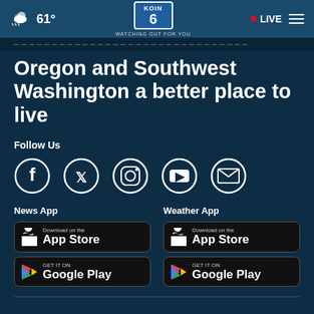61° | KOIN 6 CBS — WATCHING OUT FOR YOU | LIVE
Oregon and Southwest Washington a better place to live
Follow Us
[Figure (infographic): Social media icons: Facebook, Twitter, Instagram, YouTube, Email]
News App
[Figure (screenshot): Download on the App Store button]
[Figure (screenshot): GET IT ON Google Play button]
Weather App
[Figure (screenshot): Download on the App Store button]
[Figure (screenshot): GET IT ON Google Play button]